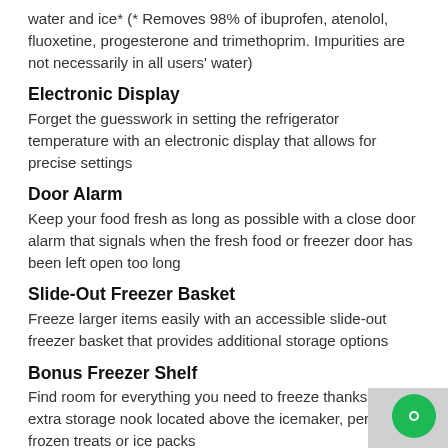water and ice* (* Removes 98% of ibuprofen, atenolol, fluoxetine, progesterone and trimethoprim. Impurities are not necessarily in all users' water)
Electronic Display
Forget the guesswork in setting the refrigerator temperature with an electronic display that allows for precise settings
Door Alarm
Keep your food fresh as long as possible with a close door alarm that signals when the fresh food or freezer door has been left open too long
Slide-Out Freezer Basket
Freeze larger items easily with an accessible slide-out freezer basket that provides additional storage options
Bonus Freezer Shelf
Find room for everything you need to freeze thanks to an extra storage nook located above the icemaker, perfect for frozen treats or ice packs
Adaptive Defrost